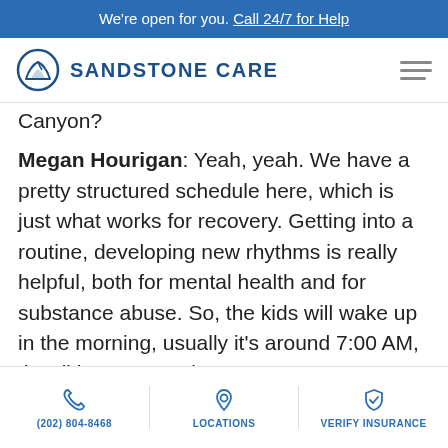We're open for you. Call 24/7 for Help
[Figure (logo): Sandstone Care logo with circular mountain icon and text SANDSTONE CARE]
Canyon?
Megan Hourigan: Yeah, yeah. We have a pretty structured schedule here, which is just what works for recovery. Getting into a routine, developing new rhythms is really helpful, both for mental health and for substance abuse. So, the kids will wake up in the morning, usually it's around 7:00 AM, they'll have some time to get
(202) 804-8468   LOCATIONS   VERIFY INSURANCE